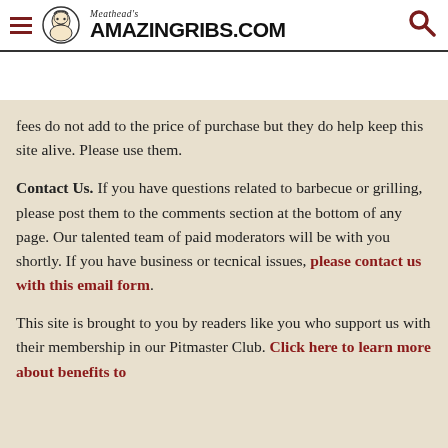Meathead's AmazingRibs.com
fees do not add to the price of purchase but they do help keep this site alive. Please use them.
Contact Us. If you have questions related to barbecue or grilling, please post them to the comments section at the bottom of any page. Our talented team of paid moderators will be with you shortly. If you have business or tecnical issues, please contact us with this email form.
This site is brought to you by readers like you who support us with their membership in our Pitmaster Club. Click here to learn more about benefits to